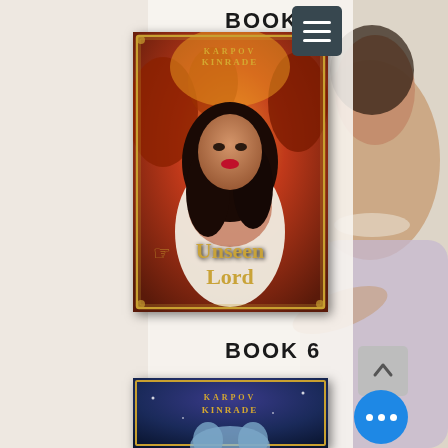[Figure (screenshot): Screenshot of a book series website/app showing Book 5 'Unseen Lord' by Karpov Kinrade with a fantasy/romance book cover featuring a dark-haired woman, and the beginning of Book 6 cover below, also by Karpov Kinrade. A hamburger menu button, scroll-to-top button, and blue more-options button are visible. A background image of a woman in a lavender dress appears on the right side.]
BOOK 5
KARPOV KINRADE
Unseen Lord
BOOK 6
KARPOV KINRADE